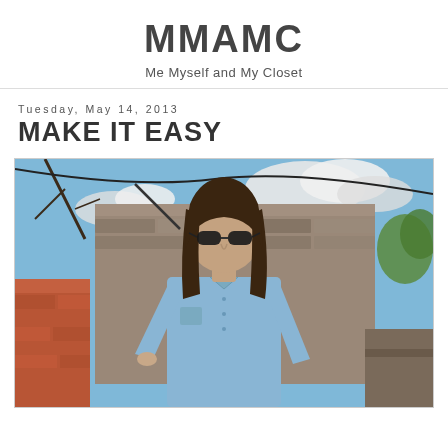MMAMC
Me Myself and My Closet
Tuesday, May 14, 2013
MAKE IT EASY
[Figure (photo): Woman with long dark hair and sunglasses wearing an oversized light blue button-down shirt, standing outdoors in front of a rustic stone wall with brick details, trees and cloudy sky in background.]